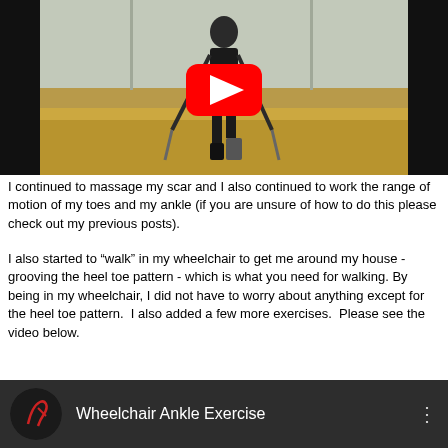[Figure (screenshot): YouTube video thumbnail showing a person walking with crutches and a leg brace on a wood floor, with a red YouTube play button overlay centered on the image]
I continued to massage my scar and I also continued to work the range of motion of my toes and my ankle (if you are unsure of how to do this please check out my previous posts).
I also started to "walk" in my wheelchair to get me around my house - grooving the heel toe pattern - which is what you need for walking. By being in my wheelchair, I did not have to worry about anything except for the heel toe pattern.  I also added a few more exercises.  Please see the video below.
[Figure (screenshot): YouTube video card for 'Wheelchair Ankle Exercise' showing a circular thumbnail with a leg/ankle logo in red and white, video title text in white on dark background, with a three-dot menu icon on the right]